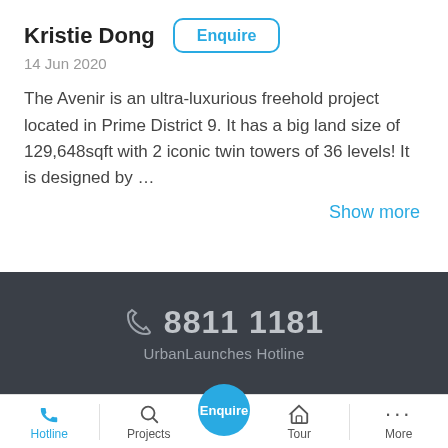Kristie Dong
14 Jun 2020
The Avenir is an ultra-luxurious freehold project located in Prime District 9. It has a big land size of 129,648sqft with 2 iconic twin towers of 36 levels! It is designed by …
Show more
8811 1181
UrbanLaunches Hotline
Hotline | Projects | Enquire | Tour | More